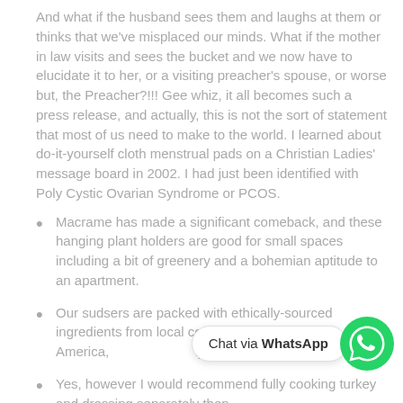And what if the husband sees them and laughs at them or thinks that we've misplaced our minds. What if the mother in law visits and sees the bucket and we now have to elucidate it to her, or a visiting preacher's spouse, or worse but, the Preacher?!!! Gee whiz, it all becomes such a press release, and actually, this is not the sort of statement that most of us need to make to the world. I learned about do-it-yourself cloth menstrual pads on a Christian Ladies' message board in 2002. I had just been identified with Poly Cystic Ovarian Syndrome or PCOS.
Macrame has made a significant comeback, and these hanging plant holders are good for small spaces including a bit of greenery and a bohemian aptitude to an apartment.
Our sudsers are packed with ethically-sourced ingredients from local communities in North America, and consciously place our purchases s
Yes, however I would recommend fully cooking turkey and dressing separately then
[Figure (other): WhatsApp chat button overlay with green WhatsApp icon and bubble saying 'Chat via WhatsApp']